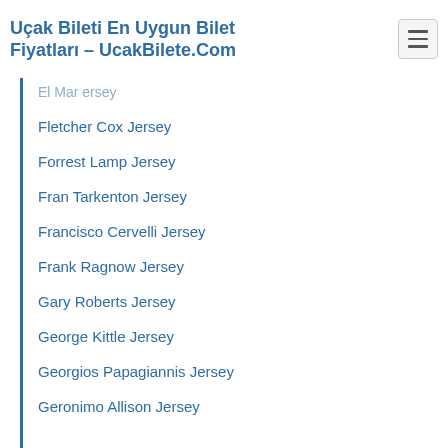Uçak Bileti En Uygun Bilet Fiyatları – UcakBilete.Com
El Mard ersey
Fletcher Cox Jersey
Forrest Lamp Jersey
Fran Tarkenton Jersey
Francisco Cervelli Jersey
Frank Ragnow Jersey
Gary Roberts Jersey
George Kittle Jersey
Georgios Papagiannis Jersey
Geronimo Allison Jersey